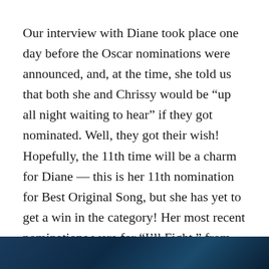Our interview with Diane took place one day before the Oscar nominations were announced, and, at the time, she told us that both she and Chrissy would be “up all night waiting to hear” if they got nominated. Well, they got their wish! Hopefully, the 11th time will be a charm for Diane — this is her 11th nomination for Best Original Song, but she has yet to get a win in the category! Her most recent nominations were for “I’ll Fight,” from the Ruth Bader Ginsburg documentary, RBG, in 2019, and for “Stand Up For Something” from Marshall in 2018.
[Figure (photo): Partial dark blue/teal image strip at the bottom of the page]